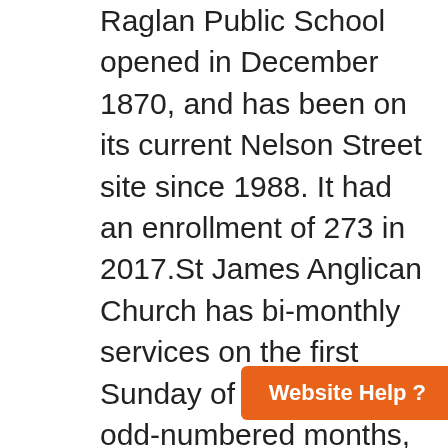Raglan Public School opened in December 1870, and has been on its current Nelson Street site since 1988. It had an enrollment of 273 in 2017.St James Anglican Church has bi-monthly services on the first Sunday of the month in odd-numbered months, alternating with St John the Evangelist Church at Peel in the even-numbered months. The Raglan Community Hall remains in operation and is managed by the Raglan Community and Sporting Committee. The Raglan Rural Fire Brigade celebrated its sixtieth anniversary in 2017.Bathurst Airport is located at Raglan. Mars Petcare opened a $100 million upgrade of their Raglan manufacturing facility in May 2015. The suburb was formerly home to the Bathurst Brick Company factory, which relocated to Raglan in 1977 until its closure in 1998, seven years after being purchased by CSR Limited.Raglan Post Office opened on 15 August 1873, closed on 12 May 1876, reopened on 1 January 1883 and closed on 6 June 1990.The village was subject to a controversial proposal for a two-storey, 48-room motel, petrol convenience store, seven shops and a 111-unit self-
Website Help ?